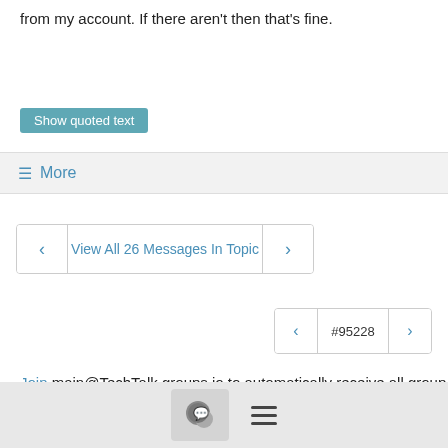from my account. If there aren't then that's fine.
Show quoted text
≡ More
< View All 26 Messages In Topic >
< #95228 >
Join main@TechTalk.groups.io to automatically receive all group